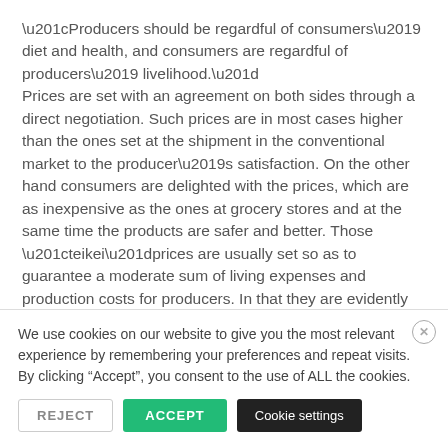“Producers should be regardful of consumers’ diet and health, and consumers are regardful of producers’ livelihood.” Prices are set with an agreement on both sides through a direct negotiation. Such prices are in most cases higher than the ones set at the shipment in the conventional market to the producer’s satisfaction. On the other hand consumers are delighted with the prices, which are as inexpensive as the ones at grocery stores and at the same time the products are safer and better. Those “teikei”prices are usually set so as to guarantee a moderate sum of living expenses and production costs for producers. In that they are evidently
We use cookies on our website to give you the most relevant experience by remembering your preferences and repeat visits. By clicking “Accept”, you consent to the use of ALL the cookies.